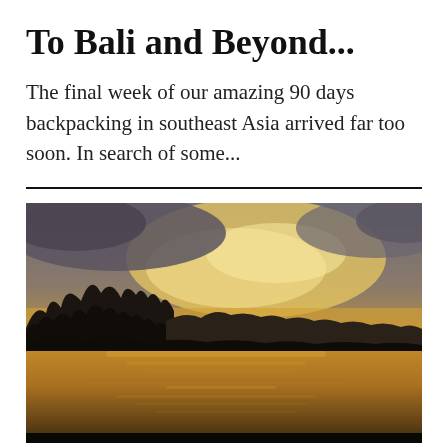To Bali and Beyond...
The final week of our amazing 90 days backpacking in southeast Asia arrived far too soon. In search of some...
[Figure (photo): Sunset landscape photograph showing silhouettes of trees on left and horizon line, golden sky with clouds, and a calm river or lake reflecting the warm golden light in the foreground.]